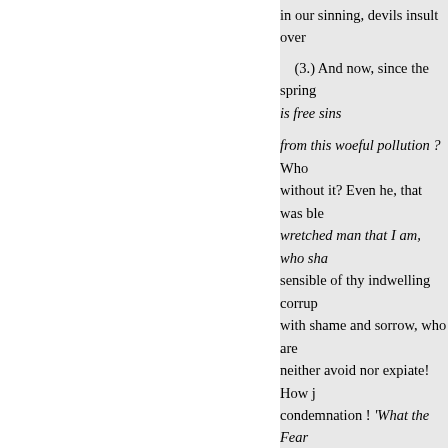in our sinning, devils insult over
(3.) And now, since the spring is free sins
from this woeful pollution ? Who without it? Even he, that was ble wretched man that I am, who sha sensible of thy indwelling corrup with shame and sorrow, who are neither avoid nor expiate! How j condemnation ! 'What the Fear
II. Thus, therefore, when a ma fastly fixed his eyes upon the dre present God, and upon the deplo receive this Holy Fear, whereof v presence; and not presently there can he look upon his own vilenes both these, at once; and compare the great God; his own impotenc and Justice; bis own misery, with possessed, with a devout shi
« Föregående